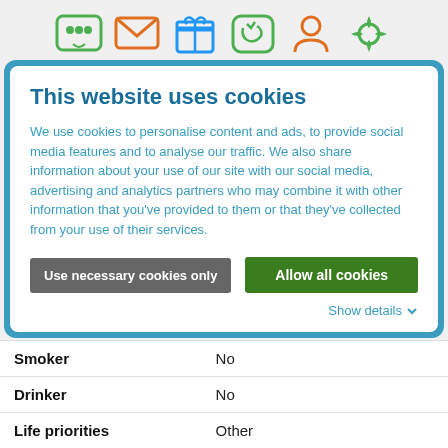[Figure (illustration): Row of 6 colorful icons: chat/message (green), email envelope (orange), gift box (blue), phone (green), person/profile (orange), flower/award (green)]
This website uses cookies
We use cookies to personalise content and ads, to provide social media features and to analyse our traffic. We also share information about your use of our site with our social media, advertising and analytics partners who may combine it with other information that you've provided to them or that they've collected from your use of their services.
Use necessary cookies only | Allow all cookies | Show details
| Smoker | No |
| Drinker | No |
| Life priorities | Other |